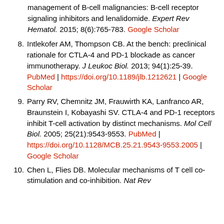management of B-cell malignancies: B-cell receptor signaling inhibitors and lenalidomide. Expert Rev Hematol. 2015; 8(6):765-783. Google Scholar
8. Intlekofer AM, Thompson CB. At the bench: preclinical rationale for CTLA-4 and PD-1 blockade as cancer immunotherapy. J Leukoc Biol. 2013; 94(1):25-39. PubMed | https://doi.org/10.1189/jlb.1212621 | Google Scholar
9. Parry RV, Chemnitz JM, Frauwirth KA, Lanfranco AR, Braunstein I, Kobayashi SV. CTLA-4 and PD-1 receptors inhibit T-cell activation by distinct mechanisms. Mol Cell Biol. 2005; 25(21):9543-9553. PubMed | https://doi.org/10.1128/MCB.25.21.9543-9553.2005 | Google Scholar
10. Chen L, Flies DB. Molecular mechanisms of T cell co-stimulation and co-inhibition. Nat Rev